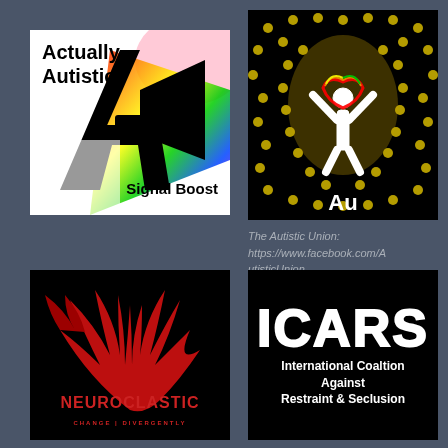[Figure (logo): Actually Autistic Signal Boost logo - white background with black megaphone/A shape and rainbow colors, text 'Actually Autistic' top left and 'Signal Boost' bottom right]
[Figure (logo): The Autistic Union logo - black background with golden light bulb shape made of dots, rainbow infinity heart symbol, figure with arms raised, 'Au' text in center]
The Autistic Union: https://www.facebook.com/AutisticUnion
[Figure (logo): Neuroclastic logo - black background with red wing/feather design, text 'NEUROCLASTIC' in red and 'CHANGE DIVERGENTLY' below]
[Figure (logo): ICARS logo - black background with large white text 'ICARS' and subtitle 'International Coaltion Against Restraint & Seclusion']